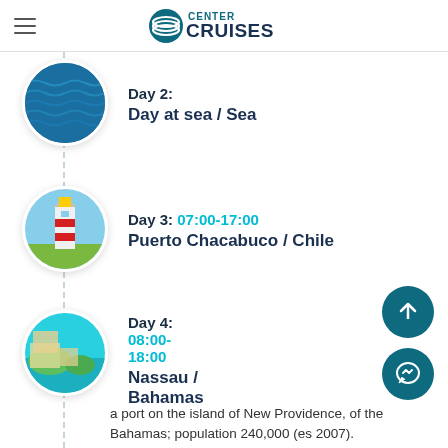Center Cruises
Day 2: Day at sea / Sea
Day 3: 07:00-17:00 Puerto Chacabuco / Chile
Day 4: 08:00-18:00 Nassau / Bahamas
a port on the island of New Providence, of the Bahamas; population 240,000 (es... 2007).